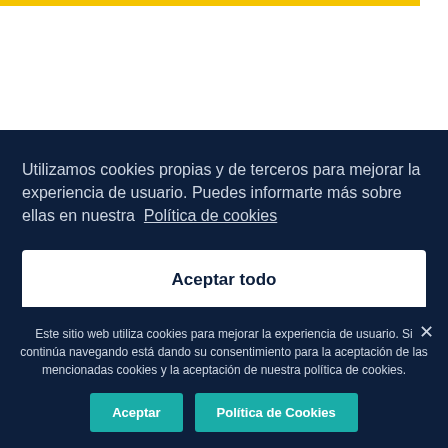[Figure (screenshot): Top white section of a webpage with a yellow horizontal bar at the top]
Utilizamos cookies propias y de terceros para mejorar la experiencia de usuario. Puedes informarte más sobre ellas en nuestra Política de cookies
Aceptar todo
Este sitio web utiliza cookies para mejorar la experiencia de usuario. Si continúa navegando está dando su consentimiento para la aceptación de las mencionadas cookies y la aceptación de nuestra política de cookies.
Aceptar
Política de Cookies